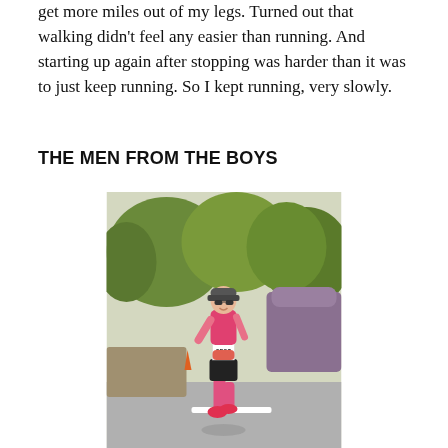get more miles out of my legs. Turned out that walking didn't feel any easier than running. And starting up again after stopping was harder than it was to just keep running. So I kept running, very slowly.
THE MEN FROM THE BOYS
[Figure (photo): A female runner wearing bib number 9593, a pink top, black shorts, visor cap and sunglasses, running on a road with trees and shrubs in the background on a sunny day.]